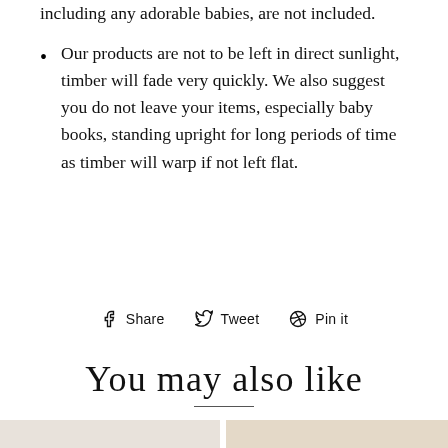including any adorable babies, are not included.
Our products are not to be left in direct sunlight, timber will fade very quickly. We also suggest you do not leave your items, especially baby books, standing upright for long periods of time as timber will warp if not left flat.
Share  Tweet  Pin it
You may also like
[Figure (photo): Product photo showing wrapped timber item with green leaves, on a light wooden surface]
[Figure (photo): Product photo showing small rounded timber pieces with decorative engraved surface in warm sepia tones]